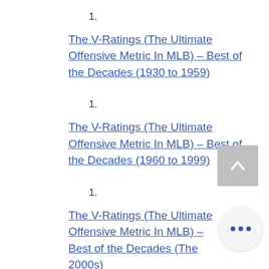1.
The V-Ratings (The Ultimate Offensive Metric In MLB) – Best of the Decades (1930 to 1959)
1.
The V-Ratings (The Ultimate Offensive Metric In MLB) – Best of the Decades (1960 to 1999)
1.
The V-Ratings (The Ultimate Offensive Metric In MLB) – Best of the Decades (The 2000s)
1.
The V-Ratings (The Ultimate Offensive Metric In MLB) – The Best Players of